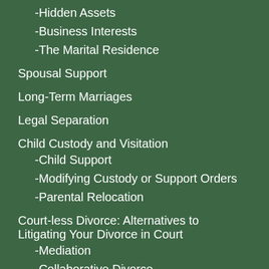-Hidden Assets
-Business Interests
-The Marital Residence
Spousal Support
Long-Term Marriages
Legal Separation
Child Custody and Visitation
-Child Support
-Modifying Custody or Support Orders
-Parental Relocation
Court-less Divorce: Alternatives to Litigating Your Divorce in Court
-Mediation
-Collaborative Divorce